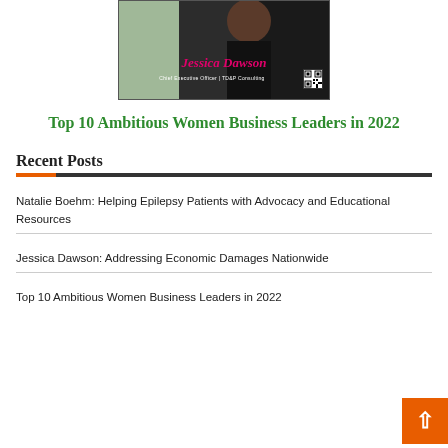[Figure (photo): Photo of Jessica Dawson, Chief Executive Officer | TD&P Consulting, with her name in pink italic text and a QR code]
Top 10 Ambitious Women Business Leaders in 2022
Recent Posts
Natalie Boehm: Helping Epilepsy Patients with Advocacy and Educational Resources
Jessica Dawson: Addressing Economic Damages Nationwide
Top 10 Ambitious Women Business Leaders in 2022